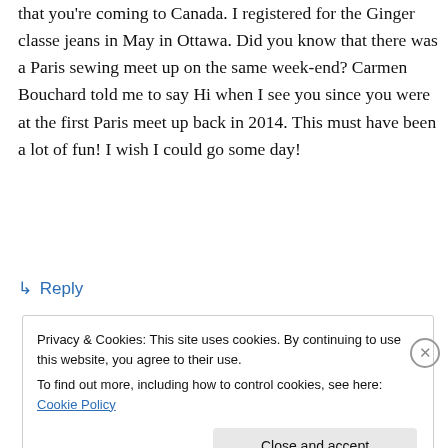that you're coming to Canada. I registered for the Ginger classe jeans in May in Ottawa. Did you know that there was a Paris sewing meet up on the same week-end? Carmen Bouchard told me to say Hi when I see you since you were at the first Paris meet up back in 2014. This must have been a lot of fun! I wish I could go some day!
↳ Reply
Privacy & Cookies: This site uses cookies. By continuing to use this website, you agree to their use.
To find out more, including how to control cookies, see here: Cookie Policy